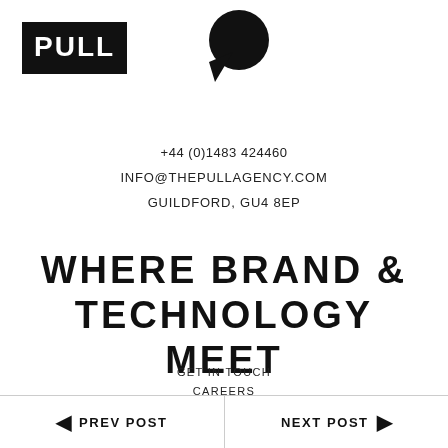[Figure (logo): PULL agency logo in black, rectangular with stylized text]
[Figure (logo): Black speech bubble / chat icon logo]
+44 (0)1483 424460
INFO@THEPULLAGENCY.COM
GUILDFORD, GU4 8EP
WHERE BRAND & TECHNOLOGY MEET
GET IN TOUCH
CAREERS
◄ PREV POST | NEXT POST ►